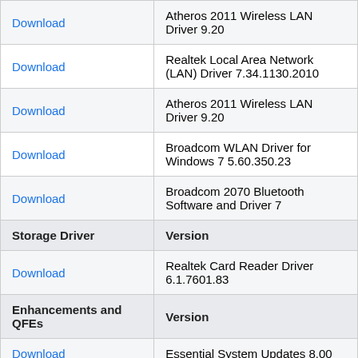|  |  |
| --- | --- |
| Download | Atheros 2011 Wireless LAN Driver 9.20 |
| Download | Realtek Local Area Network (LAN) Driver 7.34.1130.2010 |
| Download | Atheros 2011 Wireless LAN Driver 9.20 |
| Download | Broadcom WLAN Driver for Windows 7 5.60.350.23 |
| Download | Broadcom 2070 Bluetooth Software and Driver 7 |
| Storage Driver | Version |
| Download | Realtek Card Reader Driver 6.1.7601.83 |
| Enhancements and QFEs | Version |
| Download | Essential System Updates 8.00 |